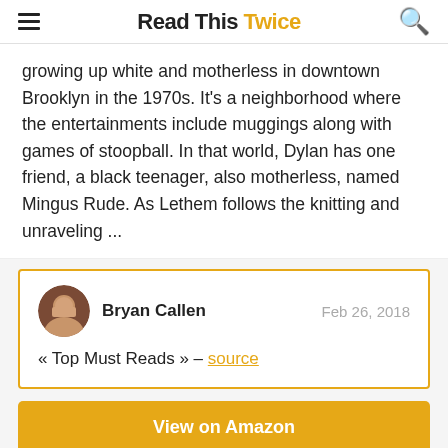Read This Twice
growing up white and motherless in downtown Brooklyn in the 1970s. It's a neighborhood where the entertainments include muggings along with games of stoopball. In that world, Dylan has one friend, a black teenager, also motherless, named Mingus Rude. As Lethem follows the knitting and unraveling ...
Bryan Callen — Feb 26, 2018 — « Top Must Reads » – source